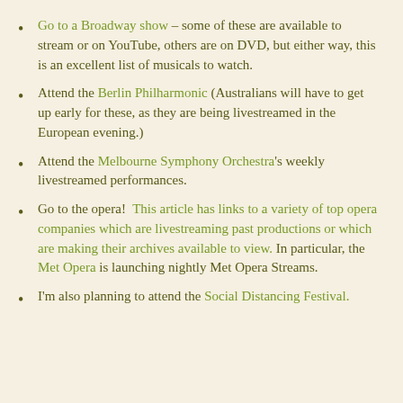Go to a Broadway show – some of these are available to stream or on YouTube, others are on DVD, but either way, this is an excellent list of musicals to watch.
Attend the Berlin Philharmonic (Australians will have to get up early for these, as they are being livestreamed in the European evening.)
Attend the Melbourne Symphony Orchestra's weekly livestreamed performances.
Go to the opera!  This article has links to a variety of top opera companies which are livestreaming past productions or which are making their archives available to view. In particular, the Met Opera is launching nightly Met Opera Streams.
I'm also planning to attend the Social Distancing Festival.